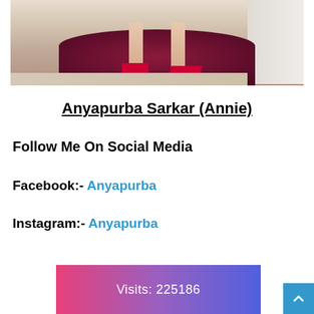[Figure (photo): Photo showing legs wearing red high heel shoes standing on a dark red/maroon fluffy rug on a tile floor, with a white fluffy object on the right side]
Anyapurba Sarkar (Annie)
Follow Me On Social Media
Facebook:- Anyapurba
Instagram:- Anyapurba
[Figure (infographic): Visits counter widget with pink to purple gradient background showing: Visits: 225186]